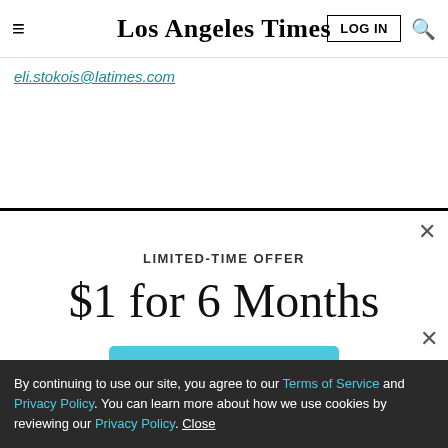Los Angeles Times
eli.stokois@latimes.com
LIMITED-TIME OFFER
$1 for 6 Months
SUBSCRIBE NOW
By continuing to use our site, you agree to our Terms of Service and Privacy Policy. You can learn more about how we use cookies by reviewing our Privacy Policy. Close